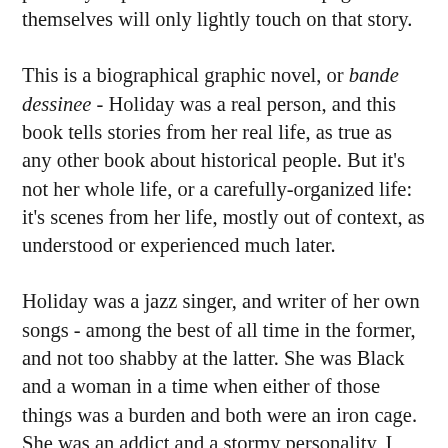writer on jazz. The introduction tells us her story in an in-your-face, demanding style - not unlike the book itself, though in a different way - probably in part because the comics pages themselves will only lightly touch on that story.
This is a biographical graphic novel, or bande dessinee - Holiday was a real person, and this book tells stories from her real life, as true as any other book about historical people. But it's not her whole life, or a carefully-organized life: it's scenes from her life, mostly out of context, as understood or experienced much later.
Holiday was a jazz singer, and writer of her own songs - among the best of all time in the former, and not too shabby at the latter. She was Black and a woman in a time when either of those things was a burden and both were an iron cage. She was an addict and a stormy personality, I think - the book and the introduction are more poetic about it - which didn't help, but who ever min-maxes their own life to be the most successful version of themselves? She achieved a lot. She fought hard. She died young.
This book is about her only at a distance, for all she's on a